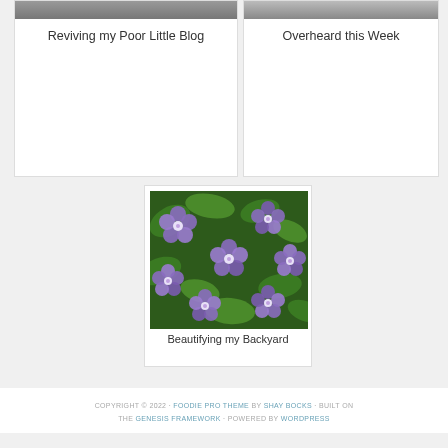[Figure (photo): Partial top of a card with image placeholder — Reviving my Poor Little Blog]
Reviving my Poor Little Blog
[Figure (photo): Partial top of a card with image placeholder — Overheard this Week]
Overheard this Week
[Figure (photo): Purple/violet flowers with green leaves filling a card image area — Beautifying my Backyard]
Beautifying my Backyard
COPYRIGHT © 2022 · FOODIE PRO THEME BY SHAY BOCKS · BUILT ON THE GENESIS FRAMEWORK · POWERED BY WORDPRESS